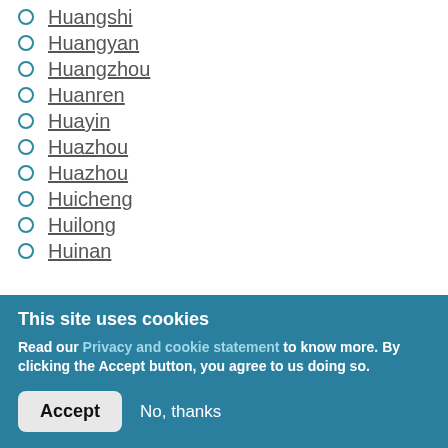Huangshi
Huangyan
Huangzhou
Huanren
Huayin
Huazhou
Huazhou
Huicheng
Huilong
Huinan
This site uses cookies
Read our Privacy and cookie statement to know more. By clicking the Accept button, you agree to us doing so.
Accept   No, thanks